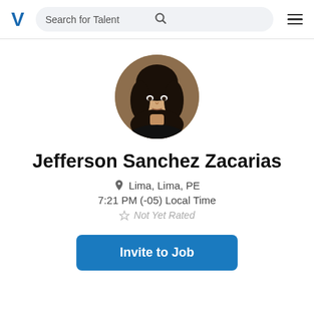V  Search for Talent
[Figure (photo): Circular profile photo of Jefferson Sanchez Zacarias, a young person with long dark hair wearing a black top, photographed indoors.]
Jefferson Sanchez Zacarias
Lima, Lima, PE
7:21 PM (-05) Local Time
Not Yet Rated
Invite to Job